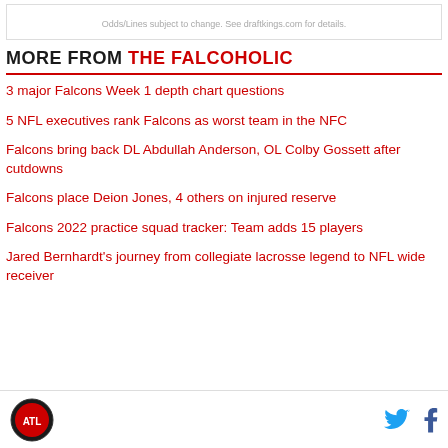Odds/Lines subject to change. See draftkings.com for details.
MORE FROM THE FALCOHOLIC
3 major Falcons Week 1 depth chart questions
5 NFL executives rank Falcons as worst team in the NFC
Falcons bring back DL Abdullah Anderson, OL Colby Gossett after cutdowns
Falcons place Deion Jones, 4 others on injured reserve
Falcons 2022 practice squad tracker: Team adds 15 players
Jared Bernhardt's journey from collegiate lacrosse legend to NFL wide receiver
The Falcoholic logo, Twitter and Facebook icons